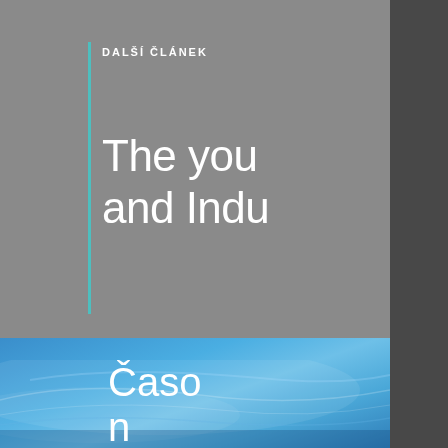[Figure (illustration): Magazine/website navigation page showing article previews. Left portion visible: gray top section with a teal vertical accent line, white text label 'DALŠÍ ČLÁNEK' and large white title text 'The you... and Indu...' (partially cropped). Below is a blue section with a car detail photo and partially visible Czech text 'Časo... n... Stáhně...' overlaid in white. Right side shows a white strip and dark gray vertical panel.]
DALŠÍ ČLÁNEK
The you and Indu
Časo n Stáhně